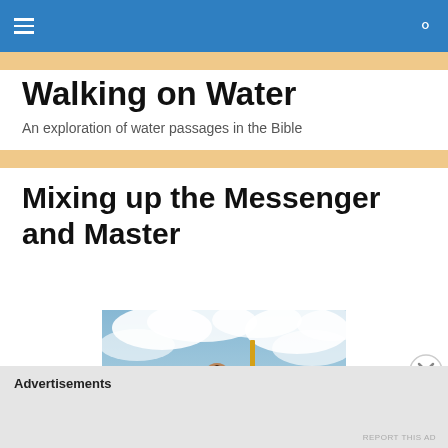Walking on Water — navigation bar
Walking on Water
An exploration of water passages in the Bible
Mixing up the Messenger and Master
[Figure (illustration): Religious painting depicting a figure with long dark hair and beard, holding a cross-shaped staff, set against a dramatic cloudy sky — style consistent with El Greco or similar Renaissance/Mannerist artist.]
Advertisements